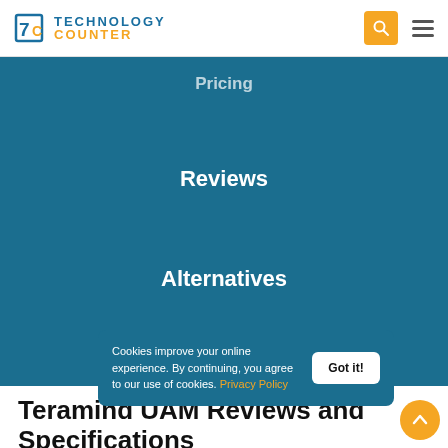Technology Counter
Pricing
Reviews
Alternatives
Teramind UAM Reviews and Specifications
Teramind UAM Overview
Privacy... ...g Soluti...
Cookies improve your online experience. By continuing, you agree to our use of cookies. Privacy Policy
Got it!